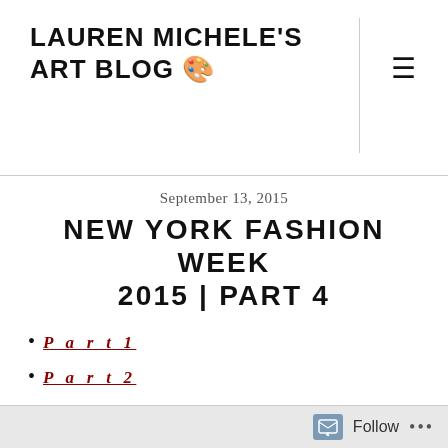LAUREN MICHELE'S ART BLOG 🎨
September 13, 2015
NEW YORK FASHION WEEK 2015 | PART 4
Part 1
Part 2
Part 3
* * * Click the images to make them bigger * * *
Follow